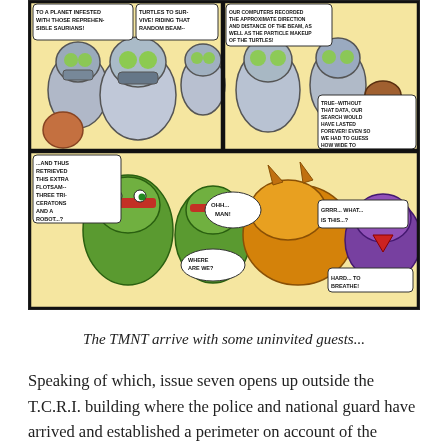[Figure (illustration): Comic book page panels showing robotic/cyborg characters speaking about scanning turtles, with speech bubbles reading 'TO A PLANET INFESTED WITH THOSE REPREHEN-SIBLE SAURIANS!', 'TURTLES TO SUR-VIVE! RIDING THAT RANDOM BEAM--', 'OUR COMPUTERS RECORDED THE APPROXIMATE DIRECTION AND DISTANCE OF THE BEAM, AS WELL AS THE PARTICLE MAKEUP OF THE TURTLES!', 'TRUE--WITHOUT THAT DATA, OUR SEARCH WOULD HAVE LASTED FOREVER! EVEN SO WE HAD TO GUESS HOW WIDE TO MAKE THE BEAM...', '...AND THUS RETRIEVED THIS EXTRA FLOTSAM-- THREE TRI-CERATONS AND A ROBOT...? HMM...', 'OHH... MAN!', 'WHERE ARE WE?', 'GRRR... WHAT... IS THIS...?', 'HARD... TO BREATHE!' Bottom panel shows Teenage Mutant Ninja Turtles and dinosaur-like creatures arriving in a dazed state.]
The TMNT arrive with some uninvited guests...
Speaking of which, issue seven opens up outside the T.C.R.I. building where the police and national guard have arrived and established a perimeter on account of the massive, suspicious